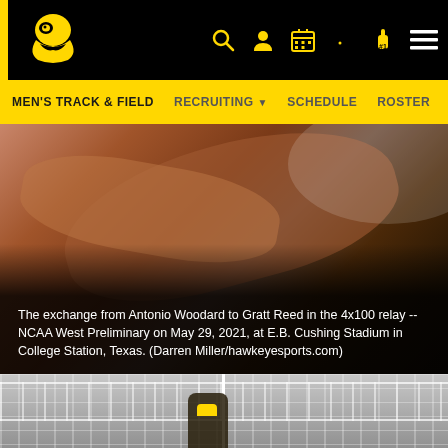Iowa Hawkeyes Men's Track & Field website header with logo and navigation icons
MEN'S TRACK & FIELD   RECRUITING ▼   SCHEDULE   ROSTER
[Figure (photo): Close-up action photo of baton exchange between Antonio Woodard and Gratt Reed in 4x100 relay at NCAA West Preliminary on May 29, 2021, at E.B. Cushing Stadium in College Station, Texas.]
The exchange from Antonio Woodard to Gratt Reed in the 4x100 relay -- NCAA West Preliminary on May 29, 2021, at E.B. Cushing Stadium in College Station, Texas. (Darren Miller/hawkeyesports.com)
[Figure (photo): Photo of people at a track and field event, bleachers visible in background.]